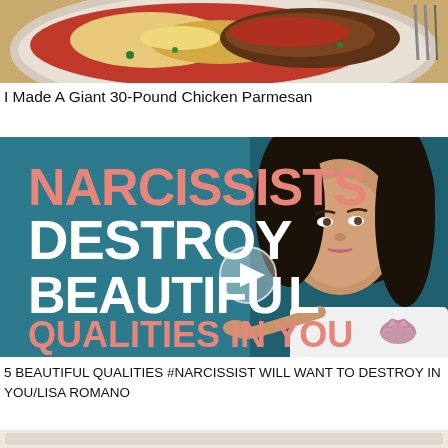[Figure (photo): A large plate of chicken parmesan with tomato sauce, cheese, and toppings on a wooden table background, cropped top portion visible]
I Made A Giant 30-Pound Chicken Parmesan
[Figure (screenshot): Video thumbnail with teal/dark blue background showing text 'NARCISSISTS DESTROY BEAUTIFUL QUALITIES IN YOU' in pink and white bold letters, with a woman with dark hair pointing at the camera, and a play button icon in the center. A lotus flower icon appears in the bottom right corner.]
5 BEAUTIFUL QUALITIES #NARCISSIST WILL WANT TO DESTROY IN YOU/LISA ROMANO
[Figure (photo): Partial image at bottom of page, light beige/tan colored content, cropped]